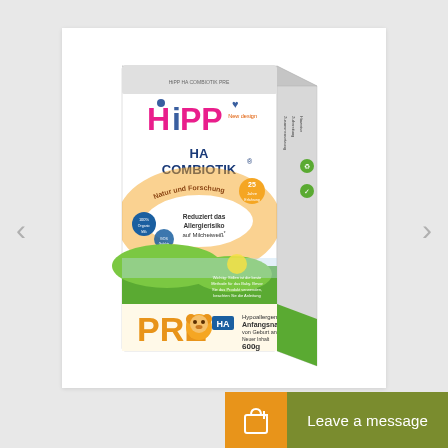[Figure (photo): Product photo of HiPP HA COMBIOTIK PRE infant formula box (600g). White box with HiPP logo in pink/blue, 'HA COMBIOTIK' text, rainbow arch with 'Natur und Forschung', green landscape at bottom, PRE and HA labels, text 'Hypoallergene Anfangsnahrung von Geburt an, Neuer Inhalt 600g'. Side navigation arrows visible.]
Leave a message